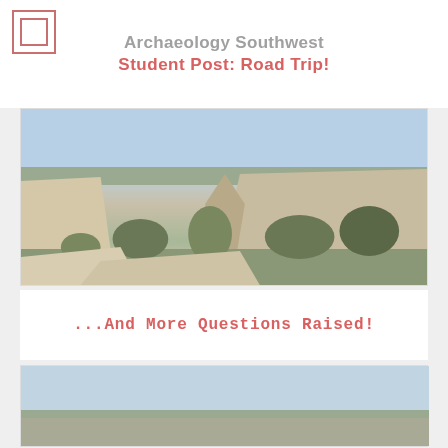Archaeology Southwest
Student Post: Road Trip!
[Figure (photo): Photograph of a canyon landscape with sandstone cliffs, trees, and blue sky — likely a Southwest archaeological site]
...And More Questions Raised!
[Figure (photo): Partial photograph of another Southwest landscape with blue sky and distant mesas or terrain]